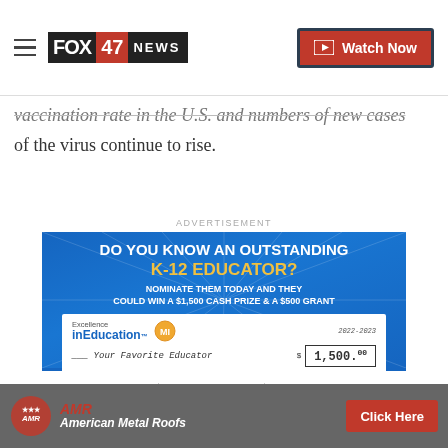FOX 47 NEWS | Watch Now
vaccination rate in the U.S. and numbers of new cases of the virus continue to rise.
ADVERTISEMENT
[Figure (infographic): Advertisement for Excellence in Education program: DO YOU KNOW AN OUTSTANDING K-12 EDUCATOR? NOMINATE THEM TODAY AND THEY COULD WIN A $1,500 CASH PRIZE & A $500 GRANT. Features Michigan Lottery and FOX47 logos with a check for $1,500 to Your Favorite Educator. Click Here button.]
[Figure (infographic): American Metal Roofs advertisement banner with logo and Click Here button on dark roof background.]